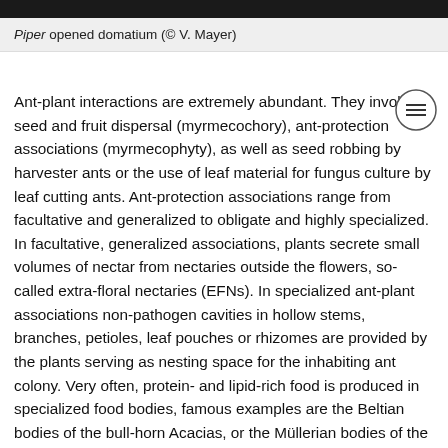Piper opened domatium (© V. Mayer)
Ant-plant interactions are extremely abundant. They involve seed and fruit dispersal (myrmecochory), ant-protection associations (myrmecophyty), as well as seed robbing by harvester ants or the use of leaf material for fungus culture by leaf cutting ants. Ant-protection associations range from facultative and generalized to obligate and highly specialized. In facultative, generalized associations, plants secrete small volumes of nectar from nectaries outside the flowers, so-called extra-floral nectaries (EFNs). In specialized ant-plant associations non-pathogen cavities in hollow stems, branches, petioles, leaf pouches or rhizomes are provided by the plants serving as nesting space for the inhabiting ant colony. Very often, protein- and lipid-rich food is produced in specialized food bodies, famous examples are the Beltian bodies of the bull-horn Acacias, or the Müllerian bodies of the Cecropia species. In most cases, the ant-plant association is known to be a multispecies community with additional partners such as ant-